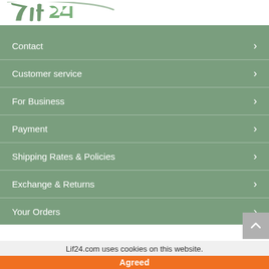[Figure (logo): Lif24 logo — stylized script text in green/teal on white background]
Contact
Customer service
For Business
Payment
Shipping Rates & Policies
Exchange & Returns
Your Orders
Sign In
Lif24.com uses cookies on this website.
Agreed